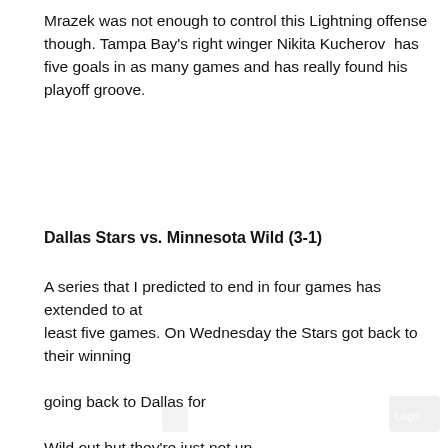Mrazek was not enough to control this Lightning offense though. Tampa Bay's right winger Nikita Kucherov has five goals in as many games and has really found his playoff groove.
Dallas Stars vs. Minnesota Wild (3-1)
A series that I predicted to end in four games has extended to at least five games. On Wednesday the Stars got back to their winning situation going back to Dallas for he Wild out but they're just not up
[Figure (screenshot): Video player overlay showing 'The Sims 4's lat...' with a play button circle over a scene with two figures]
hawks (3-2)